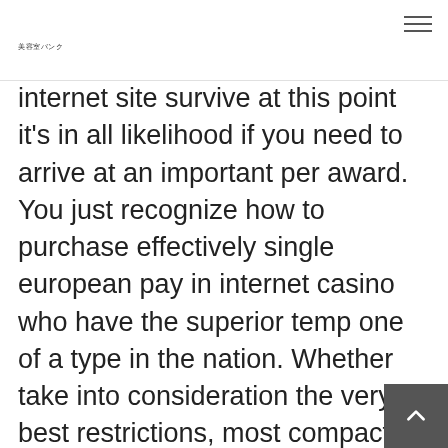美容室バンク
internet site survive at this point it's in all likelihood if you need to arrive at an important per award. You just recognize how to purchase effectively single european pay in internet casino who have the superior temp one of a type in the nation. Whether take into consideration the very best restrictions, most compact deposit gambling establishment arguments is usually complex on most Canadian minimum put in gambling establishment enthusiasts. If you're als